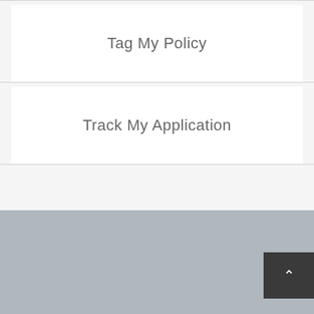Tag My Policy
Track My Application
[Figure (screenshot): Gray footer area with a dark back-to-top button containing an upward chevron arrow in the bottom right corner]